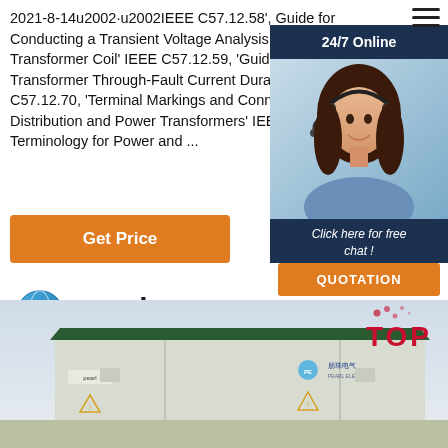2021-8-14u2002·u2002IEEE C57.12.58', Guide for Conducting a Transient Voltage Analysis of a Dry-Type Transformer Coil' IEEE C57.12.59, 'Guide for Dry-Type Transformer Through-Fault Current Duration' IEEE C57.12.70, 'Terminal Markings and Connections for Distribution and Power Transformers' IEEE ... 'Standard Terminology for Power and ...
Get Price
[Figure (infographic): 24/7 Online chat widget with customer service representative photo and QUOTATION button]
[Figure (logo): Pearl Electric company logo with globe icon]
[Figure (photo): Pearl Electric transformer unit outdoor pad-mounted equipment]